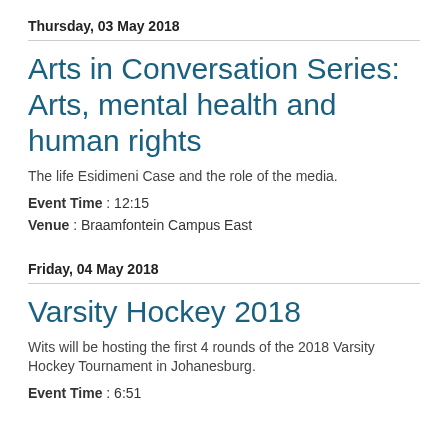Thursday, 03 May 2018
Arts in Conversation Series: Arts, mental health and human rights
The life Esidimeni Case and the role of the media.
Event Time : 12:15
Venue : Braamfontein Campus East
Friday, 04 May 2018
Varsity Hockey 2018
Wits will be hosting the first 4 rounds of the 2018 Varsity Hockey Tournament in Johanesburg.
Event Time : 6:51